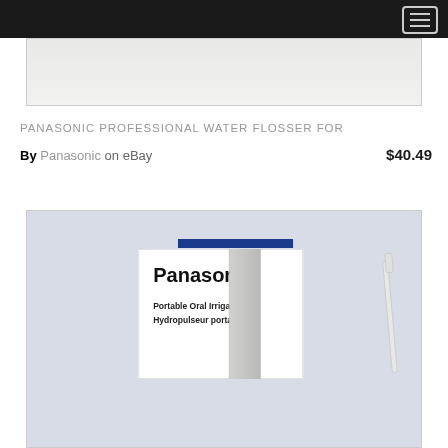[Figure (screenshot): Top navigation bar with hamburger menu icon on dark background]
[Figure (photo): Partial product photo — top portion of Panasonic water flosser product image, light gray background]
PANASONIC PROFESSIONAL WATER FLOSSER FOR
By Panasonic on eBay   $40.49
[Figure (photo): Product photo showing Panasonic Portable Oral Irrigator / Hydropulseur portatif box on gray cloth background with blue strip at top and white tube accessory to the right]